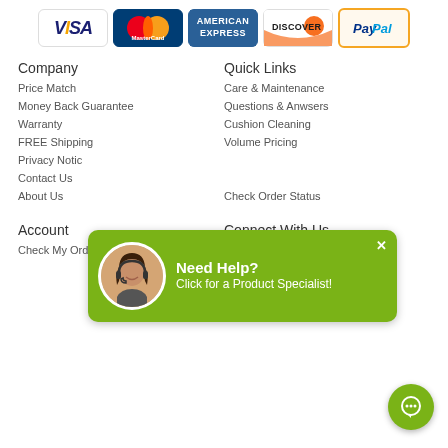[Figure (infographic): Payment method logos: Visa, MasterCard, American Express, Discover, PayPal]
Company
Price Match
Money Back Guarantee
Warranty
FREE Shipping
Privacy Notice
Contact Us
About Us
Quick Links
Care & Maintenance
Questions & Anwsers
Cushion Cleaning
Volume Pricing
Check Order Status
[Figure (infographic): Need Help? popup with customer service agent avatar and text: Click for a Product Specialist!]
Account
Check My Order Status
Connect With Us
Facebook